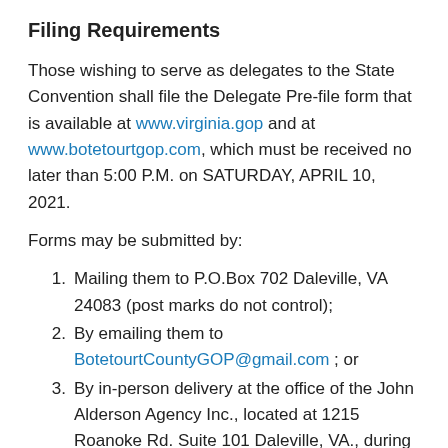Filing Requirements
Those wishing to serve as delegates to the State Convention shall file the Delegate Pre-file form that is available at www.virginia.gop and at www.botetourtgop.com, which must be received no later than 5:00 P.M. on SATURDAY, APRIL 10, 2021.
Forms may be submitted by:
Mailing them to P.O.Box 702 Daleville, VA 24083 (post marks do not control);
By emailing them to BotetourtCountyGOP@gmail.com ; or
By in-person delivery at the office of the John Alderson Agency Inc., located at 1215 Roanoke Rd. Suite 101 Daleville, VA., during business hours (9:00 a.m. to 5:00